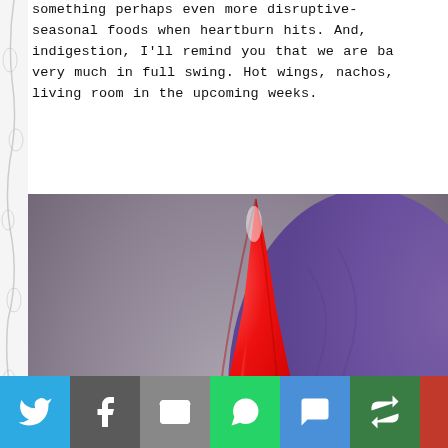something perhaps even more disruptive— seasonal foods when heartburn hits. And, indigestion, I'll remind you that we are ba very much in full swing. Hot wings, nachos, living room in the upcoming weeks.
[Figure (photo): Close-up photo of a ceramic garden gnome figurine with a glossy red pointed hat and white beard/face, with a blurred purple object in the background.]
Social sharing buttons: Twitter, Facebook, Email, WhatsApp, SMS, Share